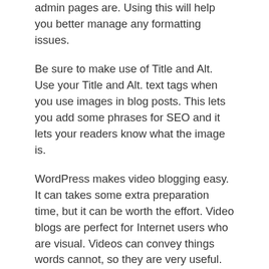admin pages are. Using this will help you better manage any formatting issues.
Be sure to make use of Title and Alt. Use your Title and Alt. text tags when you use images in blog posts. This lets you add some phrases for SEO and it lets your readers know what the image is.
WordPress makes video blogging easy. It can takes some extra preparation time, but it can be worth the effort. Video blogs are perfect for Internet users who are visual. Videos can convey things words cannot, so they are very useful.
Eliminate any content that is not adding value to your blog. This keeps the site easily usable to the honest viewers. Akismet is one of the better plugins for filtering out spam.
Do many people leave comments on your posts? If you do, it can be cumbersome to sift through all of them. You can